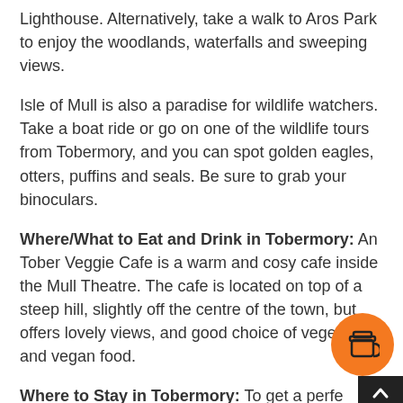Lighthouse. Alternatively, take a walk to Aros Park to enjoy the woodlands, waterfalls and sweeping views.
Isle of Mull is also a paradise for wildlife watchers. Take a boat ride or go on one of the wildlife tours from Tobermory, and you can spot golden eagles, otters, puffins and seals. Be sure to grab your binoculars.
Where/What to Eat and Drink in Tobermory: An Tober Veggie Cafe is a warm and cosy cafe inside the Mull Theatre. The cafe is located on top of a steep hill, slightly off the centre of the town, but offers lovely views, and good choice of vegetarian and vegan food.
Where to Stay in Tobermory: To get a perfect concoction of luxury and comfort, stay in Glengorm Castle, located near Tobermory. Offering sweeping